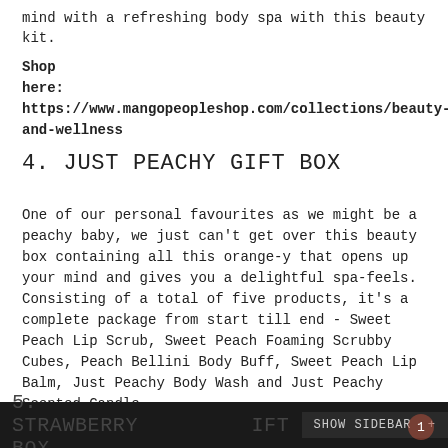mind with a refreshing body spa with this beauty kit.
Shop here: https://www.mangopeopleshop.com/collections/beauty-and-wellness
4. JUST PEACHY GIFT BOX
One of our personal favourites as we might be a peachy baby, we just can't get over this beauty box containing all this orange-y that opens up your mind and gives you a delightful spa-feels. Consisting of a total of five products, it's a complete package from start till end - Sweet Peach Lip Scrub, Sweet Peach Foaming Scrubby Cubes, Peach Bellini Body Buff, Sweet Peach Lip Balm, Just Peachy Body Wash and Just Peachy Scented Candle.
Shop here: https://www.mangopeopleshop.com/collections/beauty-and-wellness
5. STRAWBERRY GIFT BOX